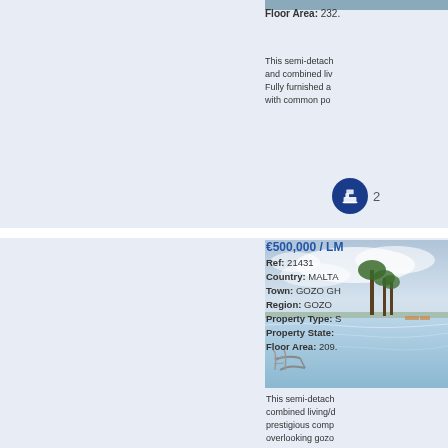Floor Area: 232.
This semi-detach and combined liv Fully furnished a with common po
[Figure (photo): Swimming pool with palm trees and cloudy sky at dusk]
€500,000 / LM
Ref: 21431
Country: MALTA
Town: GOZO GH
Region: GOZO
Property Type: S
Property State:
Floor Area: 209.
This semi-detach combined living/d prestigious comp overlooking gozo